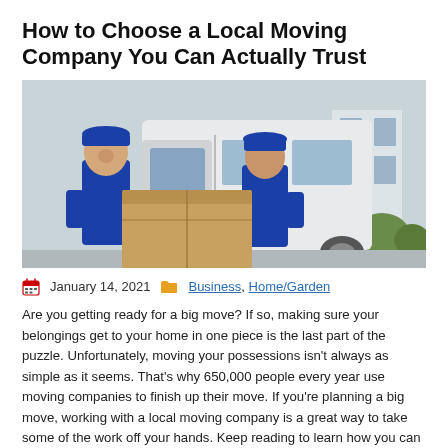How to Choose a Local Moving Company You Can Actually Trust
[Figure (photo): Two male movers in blue uniforms and caps holding a large cardboard box in front of a white moving van.]
January 14, 2021   Business, Home/Garden
Are you getting ready for a big move? If so, making sure your belongings get to your home in one piece is the last part of the puzzle. Unfortunately, moving your possessions isn't always as simple as it seems. That's why 650,000 people every year use moving companies to finish up their move. If you're planning a big move, working with a local moving company is a great way to take some of the work off your hands. Keep reading to learn how you can find local moving companies that will get your